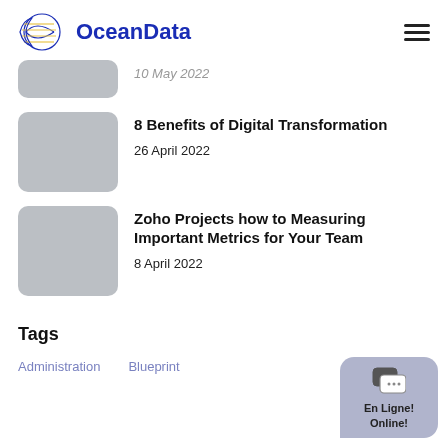OceanData
10 May 2022
8 Benefits of Digital Transformation
26 April 2022
Zoho Projects how to Measuring Important Metrics for Your Team
8 April 2022
Tags
Administration
Blueprint